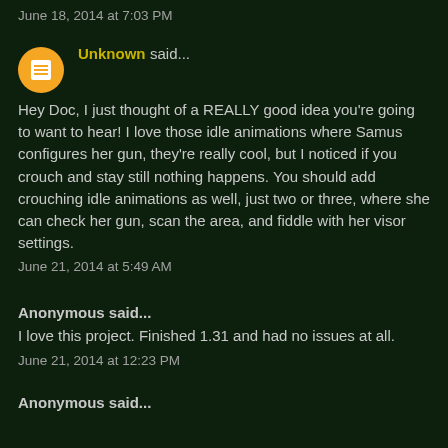June 18, 2014 at 7:03 PM
Unknown said...
Hey Doc, I just thought of a REALLY good idea you're going to want to hear! I love those idle animations where Samus configures her gun, they're really cool, but I noticed if you crouch and stay still nothing happens. You should add crouching idle animations as well, just two or three, where she can check her gun, scan the area, and fiddle with her visor settings.
June 21, 2014 at 5:49 AM
Anonymous said...
I love this project. Finished 1.31 and had no issues at all.
June 21, 2014 at 12:23 PM
Anonymous said...